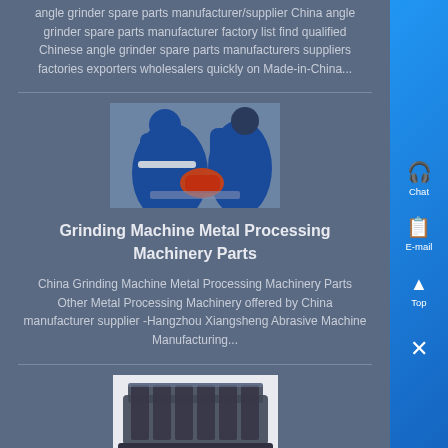angle grinder spare parts manufacturer/supplier China angle grinder spare parts manufacturer factory list find qualified Chinese angle grinder spare parts manufacturers suppliers factories exporters wholesalers quickly on Made-in-China...
[Figure (photo): Two workers in blue uniforms using an angle grinder on a surface, one operating the tool with sparks flying]
Grinding Machine Metal Processing Machinery Parts
China Grinding Machine Metal Processing Machinery Parts Other Metal Processing Machinery offered by China manufacturer supplier -Hangzhou Xiangsheng Abrasive Machine Manufacturing...
[Figure (photo): Industrial grinding machine or processing machinery equipment on white background]